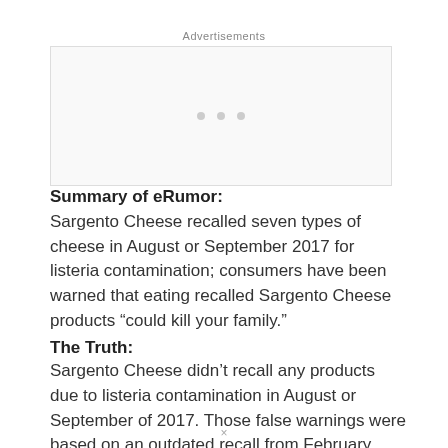Advertisements
[Figure (other): Advertisement placeholder box with three dots]
Summary of eRumor:
Sargento Cheese recalled seven types of cheese in August or September 2017 for listeria contamination; consumers have been warned that eating recalled Sargento Cheese products “could kill your family.”
The Truth:
Sargento Cheese didn’t recall any products due to listeria contamination in August or September of 2017. Those false warnings were based on an outdated recall from February 2017.
The false cheese recall warning started with an article that appeared at HealthyFoodTeam.com in early
×